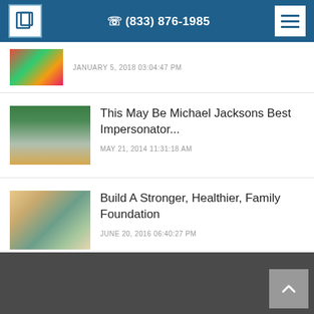(833) 876-1985
JANUARY 5, 2018 03:04:47 PM
This May Be Michael Jacksons Best Impersonator...
MAY 21, 2014 11:31:18 AM
Build A Stronger, Healthier, Family Foundation
JUNE 20, 2016 06:40:27 PM